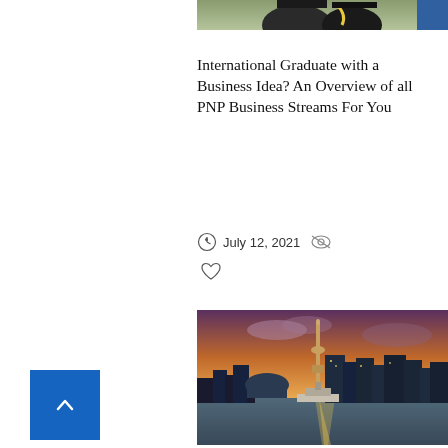[Figure (photo): Cropped top portion of a graduation photo showing a person in cap and gown]
International Graduate with a Business Idea? An Overview of all PNP Business Streams For You
July 12, 2021
[Figure (photo): Toronto city skyline at sunset with CN Tower visible, a boat on the water in the foreground]
4 Ways to Boost Your Ontario Immigration Prospects—Tech, Skilled